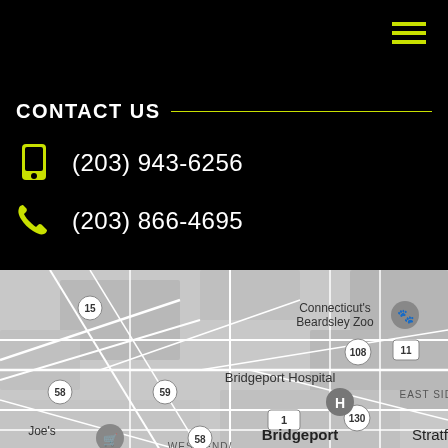DRAINAGE SERVICES
MATTERA & DAUGHTER
LANDSCAPING • MASONRY
CONTACT US
(203) 943-6256
(203) 866-4695
[Figure (map): Google Maps screenshot showing Bridgeport, CT area including Connecticut's Beardsley Zoo, Bridgeport Hospital, East Side, and Stratford. Roads labeled include Route 15, 58, 59, 108, 130, and US-1.]